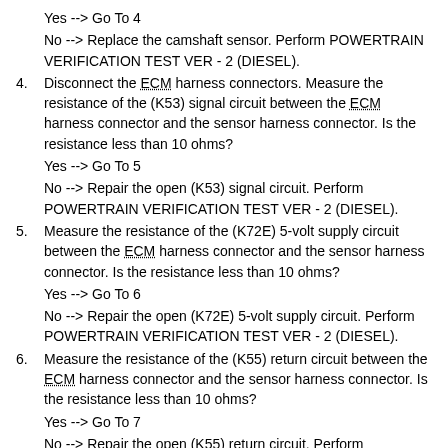Yes --> Go To 4
No --> Replace the camshaft sensor. Perform POWERTRAIN VERIFICATION TEST VER - 2 (DIESEL).
4. Disconnect the ECM harness connectors. Measure the resistance of the (K53) signal circuit between the ECM harness connector and the sensor harness connector. Is the resistance less than 10 ohms?
Yes --> Go To 5
No --> Repair the open (K53) signal circuit. Perform POWERTRAIN VERIFICATION TEST VER - 2 (DIESEL).
5. Measure the resistance of the (K72E) 5-volt supply circuit between the ECM harness connector and the sensor harness connector. Is the resistance less than 10 ohms?
Yes --> Go To 6
No --> Repair the open (K72E) 5-volt supply circuit. Perform POWERTRAIN VERIFICATION TEST VER - 2 (DIESEL).
6. Measure the resistance of the (K55) return circuit between the ECM harness connector and the sensor harness connector. Is the resistance less than 10 ohms?
Yes --> Go To 7
No --> Repair the open (K55) return circuit. Perform